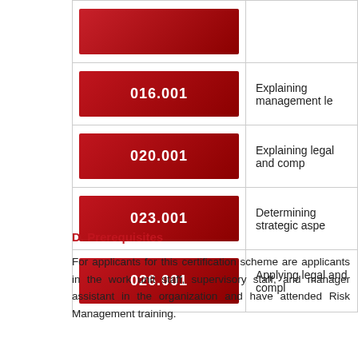| Code | Description |
| --- | --- |
| 016.001 | Explaining management le |
| 020.001 | Explaining legal and comp |
| 023.001 | Determining strategic aspe |
| 026.001 | Applying legal and compl |
D. Prerequisites
For applicants for this certification scheme are applicants in the work unit staff, supervisory staff, and manager assistant in the organization and have attended Risk Management training.